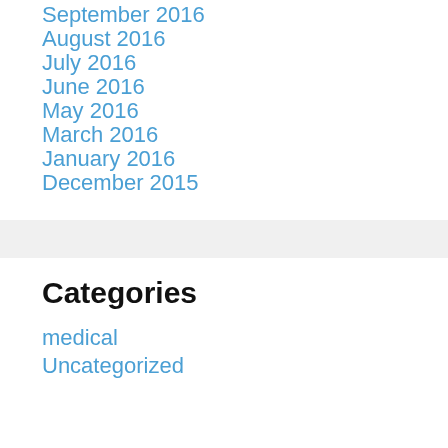September 2016
August 2016
July 2016
June 2016
May 2016
March 2016
January 2016
December 2015
Categories
medical
Uncategorized